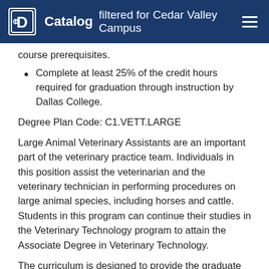Catalog filtered for Cedar Valley Campus
course prerequisites.
Complete at least 25% of the credit hours required for graduation through instruction by Dallas College.
Degree Plan Code: C1.VETT.LARGE
Large Animal Veterinary Assistants are an important part of the veterinary practice team. Individuals in this position assist the veterinarian and the veterinary technician in performing procedures on large animal species, including horses and cattle. Students in this program can continue their studies in the Veterinary Technology program to attain the Associate Degree in Veterinary Technology.
The curriculum is designed to provide the graduate with the information, experience, and skills needed to perform all large animal veterinary assistant duties in a clinical practice or research setting. Admission to the Large Animal Veterinary